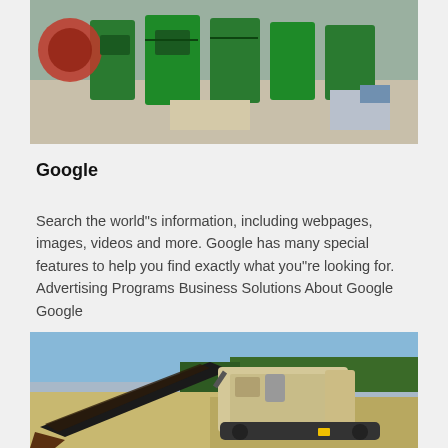[Figure (photo): Industrial machinery with green metal components on a work site, partial view from top of page]
Google
Search the world"s information, including webpages, images, videos and more. Google has many special features to help you find exactly what you"re looking for. Advertising Programs Business Solutions About Google Google
[Figure (photo): Large industrial mining or quarrying machine (mobile crusher/screener) on a sandy site with trees and sky in background]